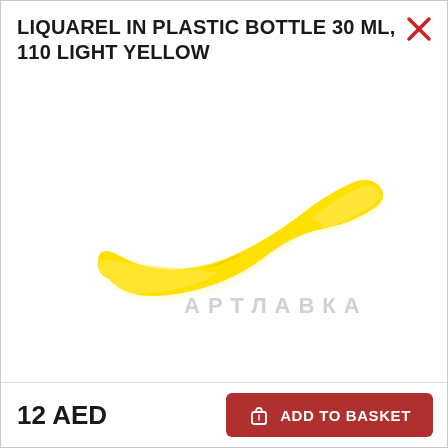LIQUAREL IN PLASTIC BOTTLE 30 ML, 110 LIGHT YELLOW
[Figure (photo): A yellow paint swatch in an S-curve brush stroke shape on a white background, with a watermark text 'АРТЛАВКА' overlaid in light gray]
12 AED
ADD TO BASKET